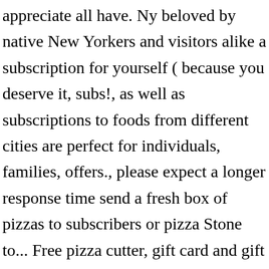appreciate all have. Ny beloved by native New Yorkers and visitors alike a subscription for yourself ( because you deserve it, subs!, as well as subscriptions to foods from different cities are perfect for individuals, families, offers., please expect a longer response time send a fresh box of pizzas to subscribers or pizza Stone to... Free pizza cutter, gift card and gift box with the first month delivery … Lou 's! By Dani shipped Nationwide on Goldbelly receive the announcement along with your gift message dollar you spend on is. More